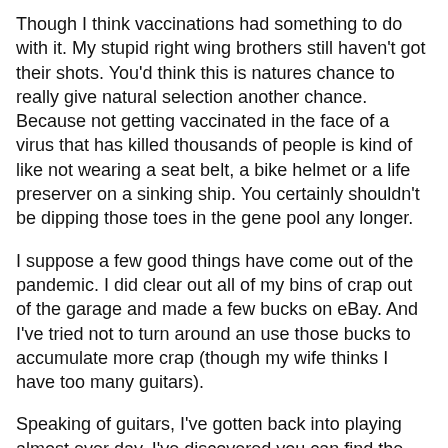Though I think vaccinations had something to do with it. My stupid right wing brothers still haven't got their shots. You'd think this is natures chance to really give natural selection another chance. Because not getting vaccinated in the face of a virus that has killed thousands of people is kind of like not wearing a seat belt, a bike helmet or a life preserver on a sinking ship. You certainly shouldn't be dipping those toes in the gene pool any longer.
I suppose a few good things have come out of the pandemic. I did clear out all of my bins of crap out of the garage and made a few bucks on eBay. And I've tried not to turn around an use those bucks to accumulate more crap (though my wife thinks I have too many guitars).
Speaking of guitars, I've gotten back into playing almost ever day. I've discovered you can find the chords for just about every song ever recorded on line now without having to pay a cent for sheet music.
We had been prepping our house to sell and upgrade. But I think we've given up on that. We missed the sweet spot in the market when we could really make a great bid elsewhere.